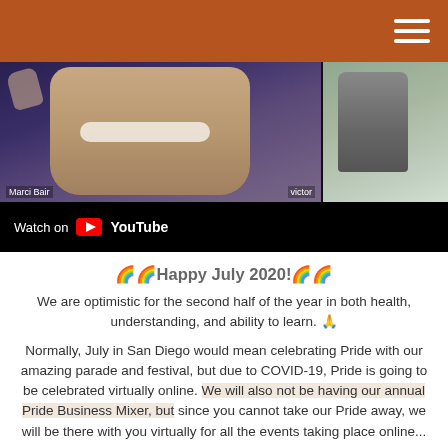[Figure (screenshot): A video call screenshot showing two participants named Marci Bair and victor, with a YouTube 'Watch on YouTube' overlay bar at the bottom left.]
🌈🌈Happy July 2020!🌈🌈
We are optimistic for the second half of the year in both health, understanding, and ability to learn. 🙏
Normally, July in San Diego would mean celebrating Pride with our amazing parade and festival, but due to COVID-19, Pride is going to be celebrated virtually online. We will also not be having our annual Pride Business Mixer, but since you cannot take our Pride away, we will be there with you virtually for all the events taking place online...